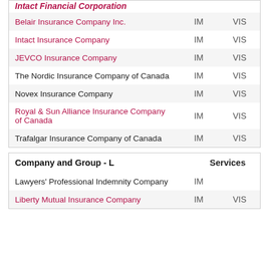| Company and Group - I (Intact Financial Corporation) | IM | VIS |
| --- | --- | --- |
| Belair Insurance Company Inc. | IM | VIS |
| Intact Insurance Company | IM | VIS |
| JEVCO Insurance Company | IM | VIS |
| The Nordic Insurance Company of Canada | IM | VIS |
| Novex Insurance Company | IM | VIS |
| Royal & Sun Alliance Insurance Company of Canada | IM | VIS |
| Trafalgar Insurance Company of Canada | IM | VIS |
| Company and Group - L | Services |
| --- | --- |
| Lawyers' Professional Indemnity Company | IM |  |
| Liberty Mutual Insurance Company | IM | VIS |